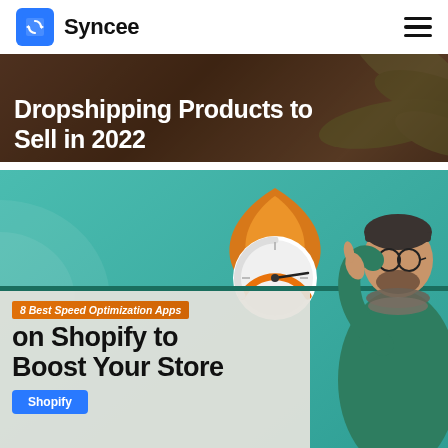[Figure (logo): Syncee logo: blue square icon with sync/refresh symbol and 'Syncee' wordmark in black bold text. Hamburger menu icon on the right.]
[Figure (photo): Banner image with dark overlay on a warm earthy background with leaves. White bold text reads 'Dropshipping Products to Sell in 2022'.]
[Figure (photo): Banner image with teal/green background. Orange fireball speedometer graphic center-top. Man in green sweater with glasses on the right. White content panel on left with orange italic label '8 Best Speed Optimization Apps', bold black title 'on Shopify to Boost Your Store', and blue 'Shopify' tag button at bottom.]